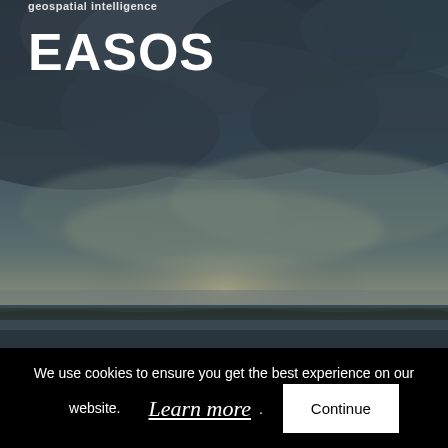[Figure (photo): Dramatic stormy sky over a dark sea/coastal landscape with heavy clouds and dim light breaking through]
Geospatial intelligence
EASOS
We use cookies to ensure you get the best experience on our website. Learn more. Continue